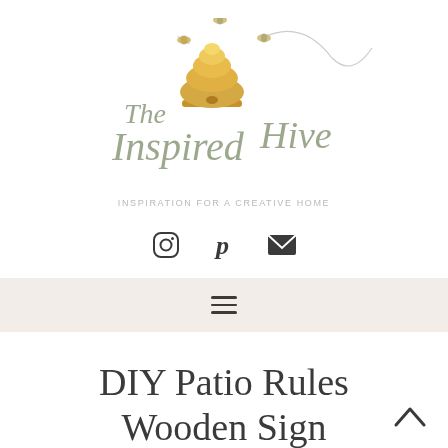[Figure (logo): The Inspired Hive logo with a beehive illustration and bees, with cursive script text reading 'The Inspired Hive']
INSPIRATION FOR A CREATIVE HOME
[Figure (infographic): Social media icons: Instagram camera icon, Pinterest P icon, and envelope/email icon]
[Figure (infographic): Hamburger menu icon (three horizontal lines) on a light beige background navigation bar]
DIY Patio Rules Wooden Sign